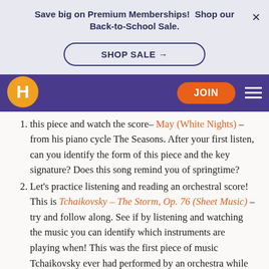Save big on Premium Memberships!  Shop our Back-to-School Sale.
SHOP SALE →
[Figure (logo): Homeschool.com H logo in orange circle on purple navigation bar]
JOIN
this piece and watch the score– May (White Nights) – from his piano cycle The Seasons. After your first listen, can you identify the form of this piece and the key signature? Does this song remind you of springtime?
Let's practice listening and reading an orchestral score! This is Tchaikovsky – The Storm, Op. 76 (Sheet Music) –try and follow along. See if by listening and watching the music you can identify which instruments are playing when! This was the first piece of music Tchaikovsky ever had performed by an orchestra while he was a student at the St. Petersburg